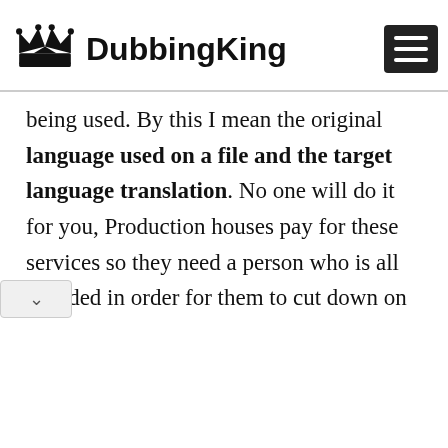DubbingKing
being used. By this I mean the original language used on a file and the target language translation. No one will do it for you, Production houses pay for these services so they need a person who is all rounded in order for them to cut down on